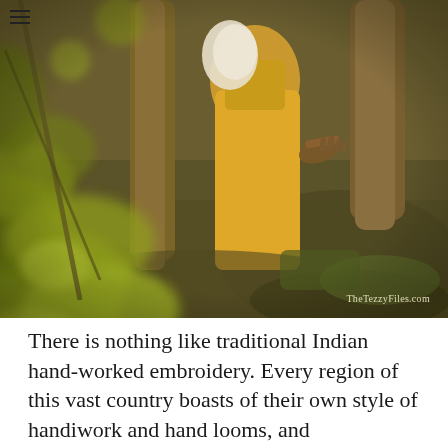[Figure (photo): A photograph taken through blurred foreground leaves and branches showing a person in a yellow/golden saree and white embroidered top standing near a tree trunk, with outdoor rocky/earthy surroundings. Watermark reads TheTezzyFiles.com]
There is nothing like traditional Indian hand-worked embroidery. Every region of this vast country boasts of their own style of handiwork and hand looms, and